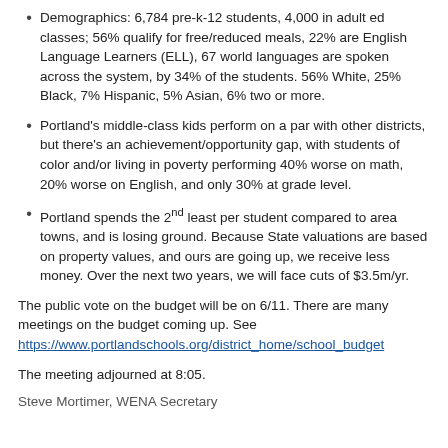Demographics: 6,784 pre-k-12 students, 4,000 in adult ed classes; 56% qualify for free/reduced meals, 22% are English Language Learners (ELL), 67 world languages are spoken across the system, by 34% of the students. 56% White, 25% Black, 7% Hispanic, 5% Asian, 6% two or more.
Portland's middle-class kids perform on a par with other districts, but there's an achievement/opportunity gap, with students of color and/or living in poverty performing 40% worse on math, 20% worse on English, and only 30% at grade level.
Portland spends the 2nd least per student compared to area towns, and is losing ground. Because State valuations are based on property values, and ours are going up, we receive less money. Over the next two years, we will face cuts of $3.5m/yr.
The public vote on the budget will be on 6/11. There are many meetings on the budget coming up. See https://www.portlandschools.org/district_home/school_budget
The meeting adjourned at 8:05.
Steve Mortimer, WENA Secretary